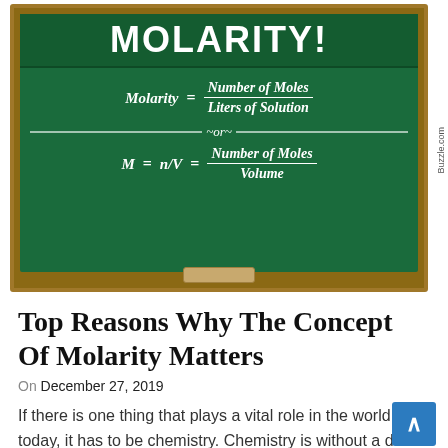[Figure (illustration): A chalkboard illustration showing the definition of Molarity. Title 'MOLARITY!' at top. Two formulas: 'Molarity = Number of Moles / Liters of Solution' and 'M = n/V = Number of Moles / Volume', separated by a line with '~or~'.]
Top Reasons Why The Concept Of Molarity Matters
On December 27, 2019
If there is one thing that plays a vital role in the world today, it has to be chemistry. Chemistry is without a doubt one of the key players in science and